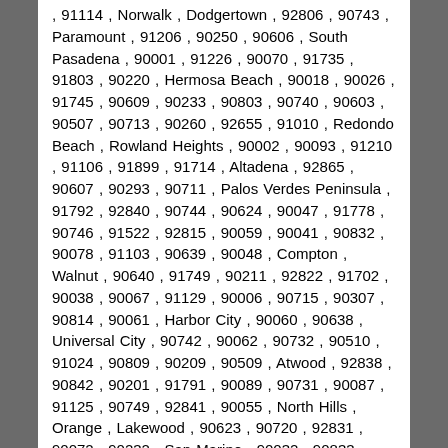, 91114 , Norwalk , Dodgertown , 92806 , 90743 , Paramount , 91206 , 90250 , 90606 , South Pasadena , 90001 , 91226 , 90070 , 91735 , 91803 , 90220 , Hermosa Beach , 90018 , 90026 , 91745 , 90609 , 90233 , 90803 , 90740 , 90603 , 90507 , 90713 , 90260 , 92655 , 91010 , Redondo Beach , Rowland Heights , 90002 , 90093 , 91210 , 91106 , 91899 , 91714 , Altadena , 92865 , 90607 , 90293 , 90711 , Palos Verdes Peninsula , 91792 , 92840 , 90744 , 90624 , 90047 , 91778 , 90746 , 91522 , 92815 , 90059 , 90041 , 90832 , 90078 , 91103 , 90639 , 90048 , Compton , Walnut , 90640 , 91749 , 90211 , 92822 , 91702 , 90038 , 90067 , 91129 , 90006 , 90715 , 90307 , 90814 , 90061 , Harbor City , 90060 , 90638 , Universal City , 90742 , 90062 , 90732 , 90510 , 91024 , 90809 , 90209 , 90509 , Atwood , 92838 , 90842 , 90201 , 91791 , 90089 , 90731 , 90087 , 91125 , 90749 , 92841 , 90055 , North Hills , Orange , Lakewood , 90623 , 90720 , 92831 , 90072 , 90232 , San Marino , 90032 , 90833 , 90506 , 92814 , Bell , 91793 , 90840 , 91734 , 92684 , La Habra , 90222 , La Crescenta , 90029